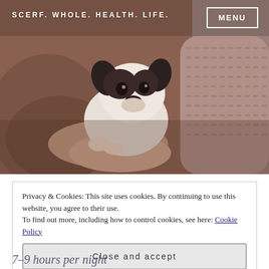[Figure (photo): A small black and white puppy (French Bulldog) being held in a person's arms wearing a knit sweater. Close-up photo with warm brown/mauve tones.]
SCERF. WHOLE. HEALTH. LIFE.
MENU
Privacy & Cookies: This site uses cookies. By continuing to use this website, you agree to their use.
To find out more, including how to control cookies, see here: Cookie Policy
Close and accept
7–9 hours per night